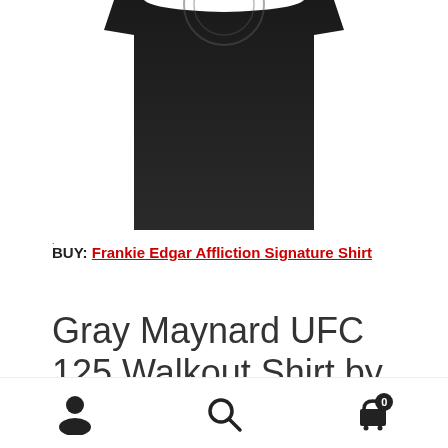[Figure (photo): Black shirt product photo cropped, showing bottom portion of a dark shirt with partial graphic design visible at top]
BUY: Frankie Edgar Affliction Signature Shirt
Gray Maynard UFC 125 Walkout Shirt by Dethrone
Gray Maynard wore Dethrone Royalty's Kings Aren't Born
user icon, search icon, cart icon with badge 0